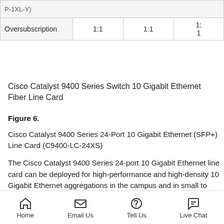|  | Col1 | Col2 | Col3 |
| --- | --- | --- | --- |
| P-1XL-Y) |  |  |  |
| Oversubscription | 1:1 | 1:1 | 1:1 |
Cisco Catalyst 9400 Series Switch 10 Gigabit Ethernet Fiber Line Card
Figure 6.
Cisco Catalyst 9400 Series 24-Port 10 Gigabit Ethernet (SFP+) Line Card (C9400-LC-24XS)
The Cisco Catalyst 9400 Series 24-port 10 Gigabit Ethernet line card can be deployed for high-performance and high-density 10 Gigabit Ethernet aggregations in the campus and in small to medium-sized networks as a core switch. The Cisco Catalyst 9400 Series 24-port 10 Gigabit Ethernet line card supports standard Small Form-Factor Pluggable Plus (SFP+) optics. The ports can be used interchang
Home | Email Us | Tell Us | Live Chat